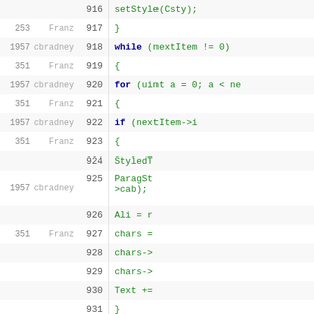| rev | author | line | code |
| --- | --- | --- | --- |
|  |  | 916 | setStyle(Csty); |
| 253 | Franz | 917 | } |
| 1957 | cbradney | 918 | while (nextItem != 0) |
| 351 | Franz | 919 | { |
| 1957 | cbradney | 920 | for (uint a = 0; a < ne |
| 351 | Franz | 921 | { |
| 1957 | cbradney | 922 | if (nextItem->i |
| 351 | Franz | 923 | { |
|  |  | 924 | StyledT |
| 1957 | cbradney | 925 | ParagSt
>cab); |
|  |  | 926 | Ali = r |
| 351 | Franz | 927 | chars = |
|  |  | 928 | chars-> |
|  |  | 929 | chars-> |
|  |  | 930 | Text += |
|  |  | 931 | } |
|  |  | 932 | else |
|  |  | 933 | { |
|  |  | 934 | hg = ne |
| 1957 | cbradney | 935 | hg->ch |